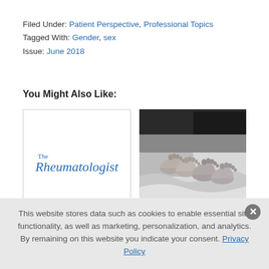Filed Under: Patient Perspective, Professional Topics
Tagged With: Gender, sex
Issue: June 2018
You Might Also Like:
[Figure (logo): The Rheumatologist logo — publication name in blue serif italic font with small 'The' above]
[Figure (photo): Black and white photograph of two pairs of feet peeking out from under bed sheets, with a dark headboard visible in background. Watermark text at bottom right.]
This website stores data such as cookies to enable essential site functionality, as well as marketing, personalization, and analytics. By remaining on this website you indicate your consent. Privacy Policy